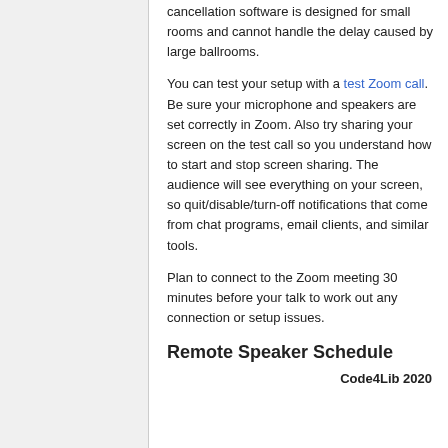cancellation software is designed for small rooms and cannot handle the delay caused by large ballrooms.
You can test your setup with a test Zoom call. Be sure your microphone and speakers are set correctly in Zoom. Also try sharing your screen on the test call so you understand how to start and stop screen sharing. The audience will see everything on your screen, so quit/disable/turn-off notifications that come from chat programs, email clients, and similar tools.
Plan to connect to the Zoom meeting 30 minutes before your talk to work out any connection or setup issues.
Remote Speaker Schedule
Code4Lib 2020